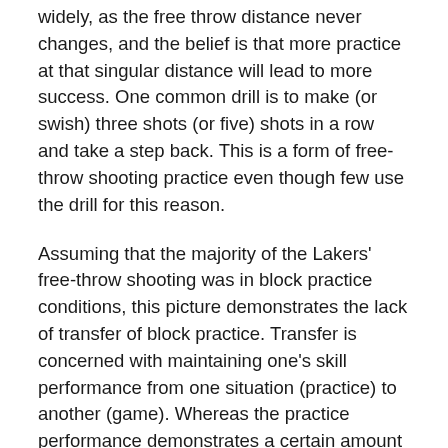widely, as the free throw distance never changes, and the belief is that more practice at that singular distance will lead to more success. One common drill is to make (or swish) three shots (or five) shots in a row and take a step back. This is a form of free-throw shooting practice even though few use the drill for this reason.
Assuming that the majority of the Lakers' free-throw shooting was in block practice conditions, this picture demonstrates the lack of transfer of block practice. Transfer is concerned with maintaining one's skill performance from one situation (practice) to another (game). Whereas the practice performance demonstrates a certain amount of shooting proficiency, there is a lack of transfer of this proficiency from practice to games for most of the players.
Coaches often discuss different ways to make free-